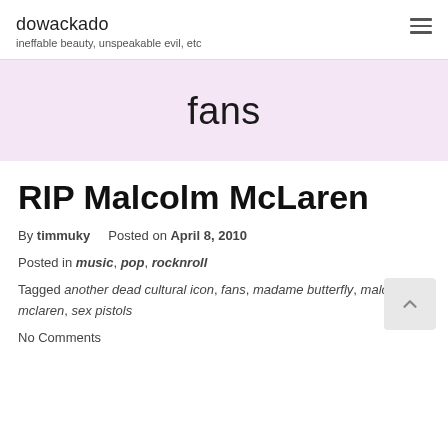dowackado
ineffable beauty, unspeakable evil, etc
fans
RIP Malcolm McLaren
By timmuky   Posted on April 8, 2010
Posted in music, pop, rocknroll
Tagged another dead cultural icon, fans, madame butterfly, malcolm mclaren, sex pistols
No Comments